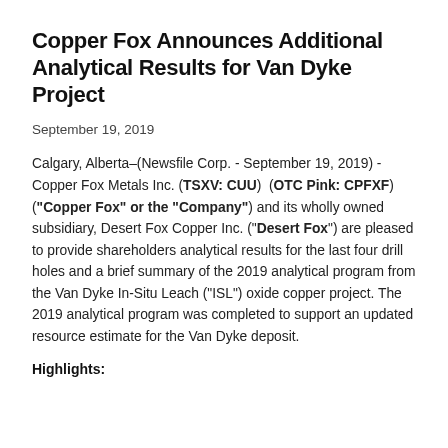Copper Fox Announces Additional Analytical Results for Van Dyke Project
September 19, 2019
Calgary, Alberta–(Newsfile Corp. - September 19, 2019) - Copper Fox Metals Inc. (TSXV: CUU) (OTC Pink: CPFXF) ("Copper Fox" or the "Company") and its wholly owned subsidiary, Desert Fox Copper Inc. ("Desert Fox") are pleased to provide shareholders analytical results for the last four drill holes and a brief summary of the 2019 analytical program from the Van Dyke In-Situ Leach ("ISL") oxide copper project. The 2019 analytical program was completed to support an updated resource estimate for the Van Dyke deposit.
Highlights: